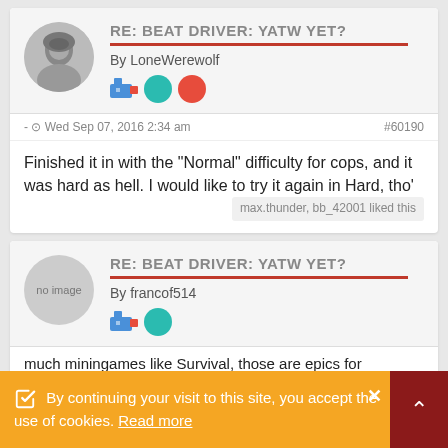RE: BEAT DRIVER: YATW YET?
By LoneWerewolf
Wed Sep 07, 2016 2:34 am   #60190
Finished it in with the "Normal" difficulty for cops, and it was hard as hell. I would like to try it again in Hard, tho'
max.thunder, bb_42001 liked this
RE: BEAT DRIVER: YATW YET?
By francof514
By continuing your visit to this site, you accept the use of cookies. Read more
much miningames like Survival, those are epics for